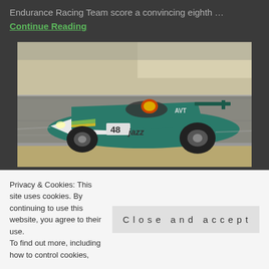Endurance Racing Team score a convincing eighth …
Continue Reading
[Figure (photo): A teal and white endurance racing car numbered 48 with 'jazz' livery speeding on a race track, taken at Le Mans.]
POSTED JUNE 12, 2015 / NEWS
Murphy Prototypes overcomes
Privacy & Cookies: This site uses cookies. By continuing to use this website, you agree to their use. To find out more, including how to control cookies,
Close and accept